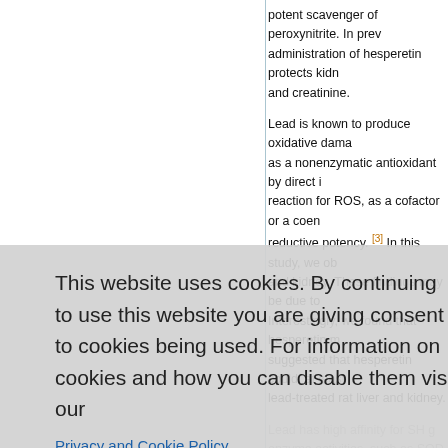potent scavenger of peroxynitrite. In prev... administration of hesperetin protects kidn... and creatinine.
Lead is known to produce oxidative dama... as a nonenzymatic antioxidant by direct i... reaction for ROS, as a cofactor or a coen... reductive potency. [3] In this study, we ob... and kidney. These findings may be due to... Interestingly, we found that hesperetin m... suggested that hesperetin could, at least... lead-treated rat liver and kidney.
Lead has high affinity for SH groups or m... enzyme activities, such as SOD, CAT, an... oxidative stress in... enzyme havin... tract and to inhibit heme bios...thesis. GR... decreased in lead-poisoned ra...s. Loss of... suggested by Schrouzer. [31] ...this study,... activities. The effective prote...ve effects
4. Conclusion
This website uses cookies. By continuing to use this website you are giving consent to cookies being used. For information on cookies and how you can disable them visit our
Privacy and Cookie Policy.
AGREE & PROCEED